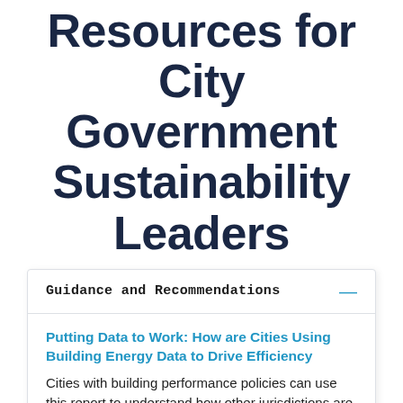Resources for City Government Sustainability Leaders
Guidance and Recommendations
Putting Data to Work: How are Cities Using Building Energy Data to Drive Efficiency
Cities with building performance policies can use this report to understand how other jurisdictions are using the data collected through these ordinances. This includes strategies for improving data quality, communicating the data to motivate action, using the data to directly drive efficiency, and using the data in city...